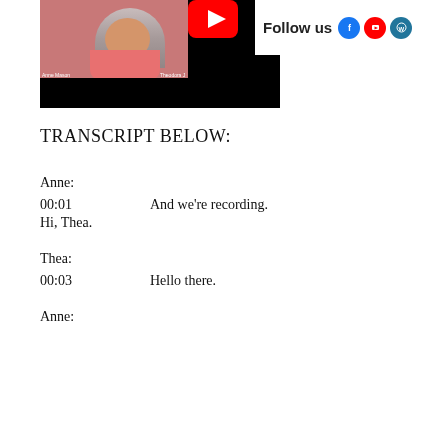[Figure (screenshot): Video thumbnail showing a woman with gray-streaked hair in a pink top on the left, a YouTube logo/red button in the center top, and black bars. Labels 'Anne Mason' and 'Theodora' visible.]
Follow us
TRANSCRIPT BELOW:
Anne:
00:01	And we're recording.
Hi, Thea.
Thea:
00:03	Hello there.
Anne: